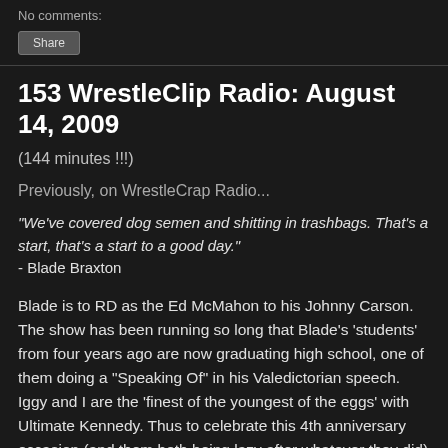No comments:
Share
153 WrestleClip Radio: August 14, 2009
(144 minutes !!!)
Previously, on WrestleCrap Radio...
"We've covered dog semen and shitting in trashbags. That's a start, that's a start to a good day."
- Blade Braxton
Blade is to RD as the Ed McMahon to his Johnny Carson. The show has been running so long that Blade's 'students' from four years ago are now graduating high school, one of them doing a "Speaking Of" in his Valedictorian speech. Iggy and I are the 'finest of the youngest of the eggs' with Ultimate Kennedy. Thus to celebrate this 4th anniversary occasion (and them both being lazy after whatever they did)